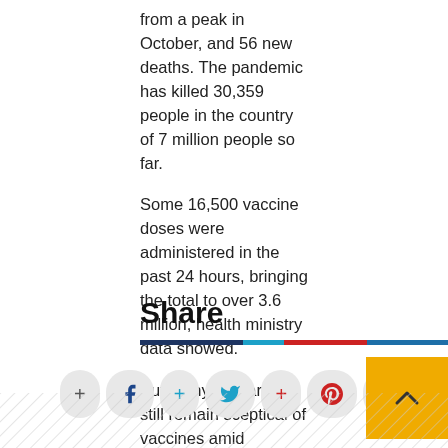from a peak in October, and 56 new deaths. The pandemic has killed 30,359 people in the country of 7 million people so far.
Some 16,500 vaccine doses were administered in the past 24 hours, bringing the total to over 3.6 million, health ministry data showed.
But many Bulgarians still remain sceptical of vaccines amid entrenched mistrust in state institutions, misinformation and contradictory messages from politicians.
Share
[Figure (other): Social media share buttons row: Facebook, Twitter, Pinterest, LinkedIn icons with plus signs, and a yellow back-to-top button]